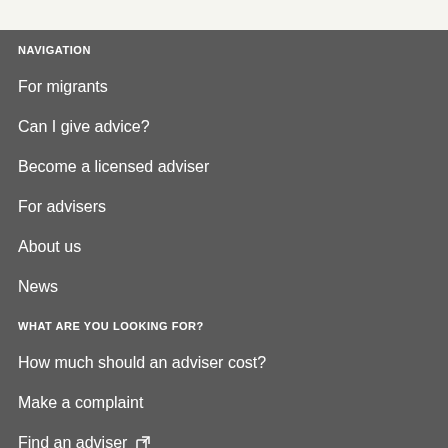NAVIGATION
For migrants
Can I give advice?
Become a licensed adviser
For advisers
About us
News
WHAT ARE YOU LOOKING FOR?
How much should an adviser cost?
Make a complaint
Find an adviser ↗